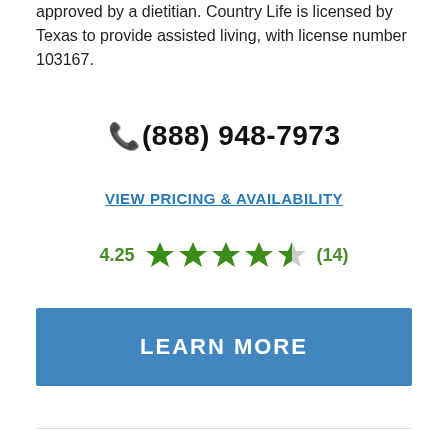approved by a dietitian. Country Life is licensed by Texas to provide assisted living, with license number 103167.
(888) 948-7973
VIEW PRICING & AVAILABILITY
4.25 ★★★★☆ (14)
LEARN MORE
[Figure (photo): A younger woman with dark curly hair leaning over and smiling with an elderly white-haired woman]